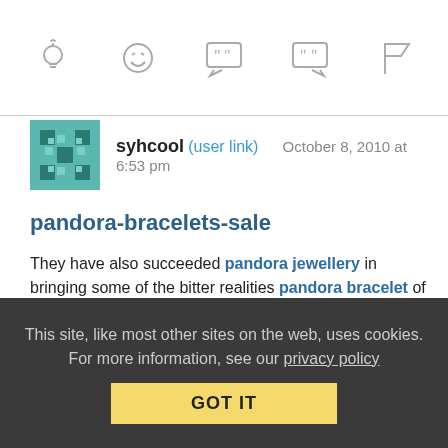[Figure (other): Toolbar with icons: lightbulb, laughing face, open quote, close quote, flag]
syhcool (user link) October 8, 2010 at 6:53 pm
pandora-bracelets-sale
They have also succeeded pandora jewellery in bringing some of the bitter realities pandora bracelet of existence — as well as joys – into the plane of society's pandora bracelets sale consciousness like never before. It is pandora shop this quality of personalization that is at the pandora bracelet charms core of the lure of rubber bracelets all over pandora bangles the world. They now come in all colors and with all pandora
This site, like most other sites on the web, uses cookies. For more information, see our privacy policy GOT IT